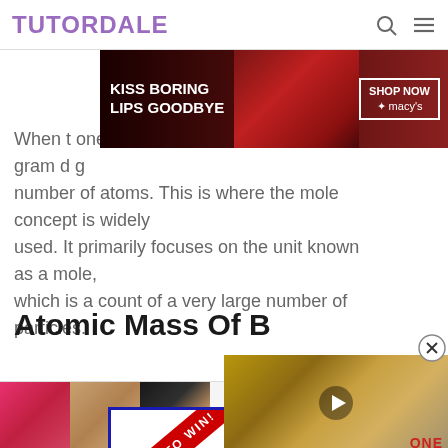TUTORDALE
[Figure (photo): Advertisement banner: KISS BORING LIPS GOODBYE - SHOP NOW macys]
When [text obscured by ad] one gram d[obscured] number of atoms. This is where the mole concept is widely used. It primarily focuses on the unit known as a mole, which is a count of a very large number of particles.
Atomic Mass Of B
[Figure (photo): Video overlay showing historical/documentary content with ONE MINUTE HISTORY logo and play button]
[Figure (photo): Advertisement: BID TO WIN! ZOOM w/ BEST-SELLING]
[Figure (photo): Bottom banner advertisement: Ulta Beauty makeup - SHOP NOW]